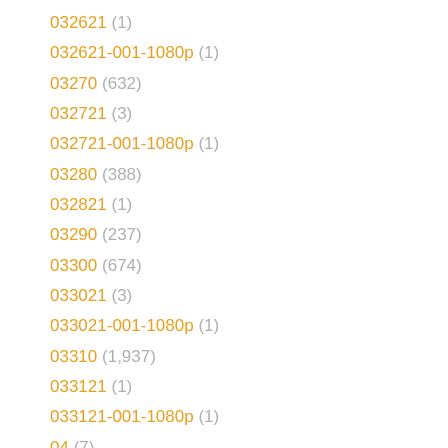032621 (1)
032621-001-1080p (1)
03270 (632)
032721 (3)
032721-001-1080p (1)
03280 (388)
032821 (1)
03290 (237)
03300 (674)
033021 (3)
033021-001-1080p (1)
03310 (1,937)
033121 (1)
033121-001-1080p (1)
04 (7)